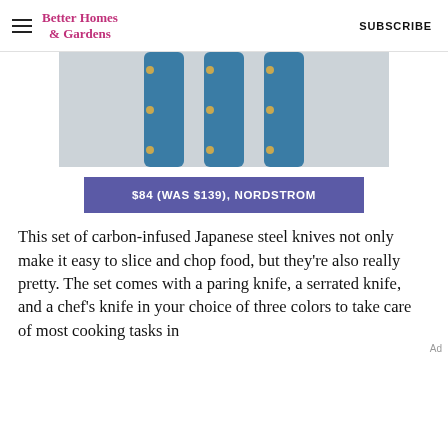Better Homes & Gardens   SUBSCRIBE
[Figure (photo): Three blue-handled carbon-infused Japanese steel knives laid on a light fabric surface]
$84 (WAS $139), NORDSTROM
This set of carbon-infused Japanese steel knives not only make it easy to slice and chop food, but they're also really pretty. The set comes with a paring knife, a serrated knife, and a chef's knife in your choice of three colors to take care of most cooking tasks in